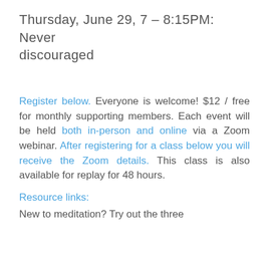Thursday, June 29, 7 - 8:15PM: Never discouraged
Register below. Everyone is welcome! $12 / free for monthly supporting members. Each event will be held both in-person and online via a Zoom webinar. After registering for a class below you will receive the Zoom details. This class is also available for replay for 48 hours.
Resource links:
New to meditation? Try out the three...